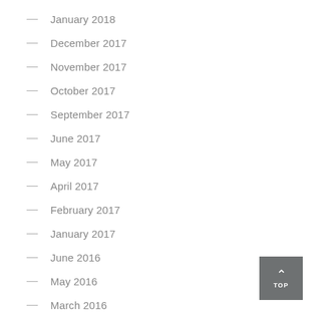January 2018
December 2017
November 2017
October 2017
September 2017
June 2017
May 2017
April 2017
February 2017
January 2017
June 2016
May 2016
March 2016
January 2016